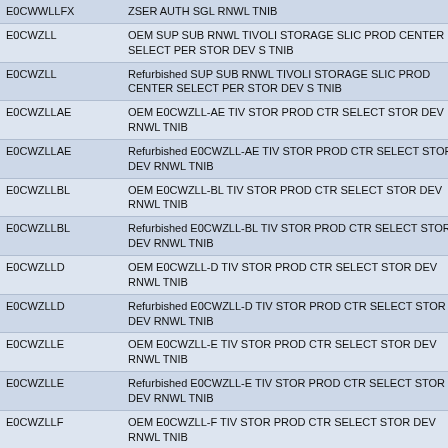| Code | Description |
| --- | --- |
| E0CWWLLFX | ZSER AUTH SGL RNWL TNIB |
| E0CWZLL | OEM SUP SUB RNWL TIVOLI STORAGE SLIC PROD CENTER SELECT PER STOR DEV S TNIB |
| E0CWZLL | Refurbished SUP SUB RNWL TIVOLI STORAGE SLIC PROD CENTER SELECT PER STOR DEV S TNIB |
| E0CWZLLAE | OEM E0CWZLL-AE TIV STOR PROD CTR SELECT STOR DEV RNWL TNIB |
| E0CWZLLAE | Refurbished E0CWZLL-AE TIV STOR PROD CTR SELECT STOR DEV RNWL TNIB |
| E0CWZLLBL | OEM E0CWZLL-BL TIV STOR PROD CTR SELECT STOR DEV RNWL TNIB |
| E0CWZLLBL | Refurbished E0CWZLL-BL TIV STOR PROD CTR SELECT STOR DEV RNWL TNIB |
| E0CWZLLD | OEM E0CWZLL-D TIV STOR PROD CTR SELECT STOR DEV RNWL TNIB |
| E0CWZLLD | Refurbished E0CWZLL-D TIV STOR PROD CTR SELECT STOR DEV RNWL TNIB |
| E0CWZLLE | OEM E0CWZLL-E TIV STOR PROD CTR SELECT STOR DEV RNWL TNIB |
| E0CWZLLE | Refurbished E0CWZLL-E TIV STOR PROD CTR SELECT STOR DEV RNWL TNIB |
| E0CWZLLF | OEM E0CWZLL-F TIV STOR PROD CTR SELECT STOR DEV RNWL TNIB |
| E0CWZLLF | Refurbished E0CWZLL-F TIV STOR PROD CTR SELECT STOR DEV RNWL TNIB |
| E0CWZLLG | OEM E0CWZLL-G TIV STOR PROD CTR SELECT STOR DEV RNWL TNIB |
| E0CWZLLG | Refurbished E0CWZLL-G TIV STOR PROD CTR SELECT STOR DEV RNWL TNIB |
| E0CWZLLGV | OEM E0CWZLL-GV TIV STOR PROD CTR SELECT STOR DEV RNWL TNIB |
| E0CWZLLGV | Refurbished E0CWZLL-GV TIV STOR PROD CTR SELECT STOR |